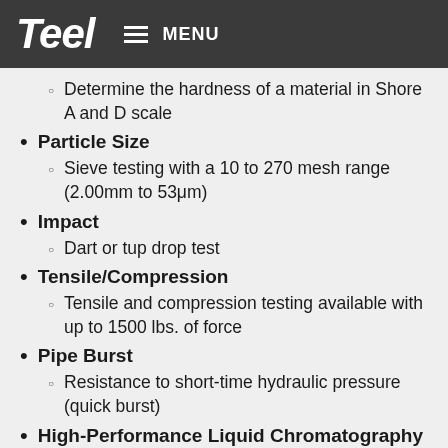Teel | MENU
Determine the hardness of a material in Shore A and D scale
Particle Size
Sieve testing with a 10 to 270 mesh range (2.00mm to 53μm)
Impact
Dart or tup drop test
Tensile/Compression
Tensile and compression testing available with up to 1500 lbs. of force
Pipe Burst
Resistance to short-time hydraulic pressure (quick burst)
High-Performance Liquid Chromatography (HPLC)
Technique to identify and quantify components